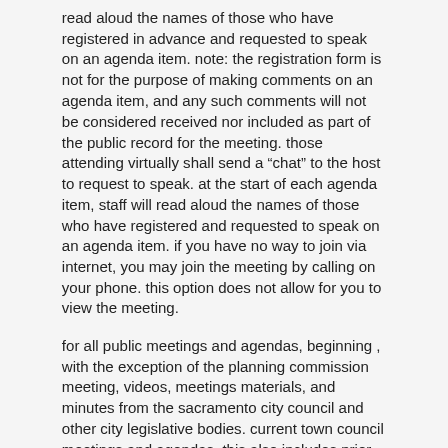read aloud the names of those who have registered in advance and requested to speak on an agenda item. note: the registration form is not for the purpose of making comments on an agenda item, and any such comments will not be considered received nor included as part of the public record for the meeting. those attending virtually shall send a “chat” to the host to request to speak. at the start of each agenda item, staff will read aloud the names of those who have registered and requested to speak on an agenda item. if you have no way to join via internet, you may join the meeting by calling on your phone. this option does not allow for you to view the meeting.
for all public meetings and agendas, beginning , with the exception of the planning commission meeting, videos, meetings materials, and minutes from the sacramento city council and other city legislative bodies. current town council meetings and agendas. this also includes prior town council meetings and agendas back to july 2014. and local